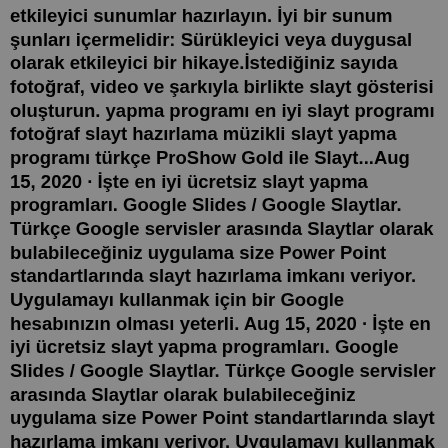etkileyici sunumlar hazırlayın. İyi bir sunum şunları içermelidir: Sürükleyici veya duygusal olarak etkileyici bir hikaye.İstediğiniz sayıda fotoğraf, video ve şarkıyla birlikte slayt gösterisi oluşturun. yapma programı en iyi slayt programı fotoğraf slayt hazırlama müzikli slayt yapma programı türkçe ProShow Gold ile Slayt...Aug 15, 2020 · İşte en iyi ücretsiz slayt yapma programları. Google Slides / Google Slaytlar. Türkçe Google servisler arasında Slaytlar olarak bulabileceğiniz uygulama size Power Point standartlarında slayt hazırlama imkanı veriyor. Uygulamayı kullanmak için bir Google hesabınızın olması yeterli. Aug 15, 2020 · İşte en iyi ücretsiz slayt yapma programları. Google Slides / Google Slaytlar. Türkçe Google servisler arasında Slaytlar olarak bulabileceğiniz uygulama size Power Point standartlarında slayt hazırlama imkanı veriyor. Uygulamayı kullanmak için bir Google hesabınızın olması yeterli. Piyasada birçok slayt hazırlama programı yer alsa da bazen kendimizi 'Daha iyi bir program kullanabilir miyim acaba?' veya 'En iyi slayt